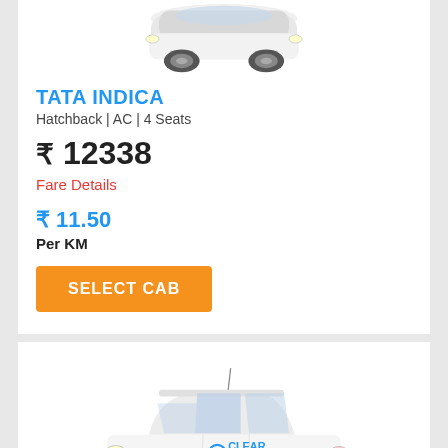[Figure (photo): Partial view of a white Tata Indica hatchback car from above, cropped at top]
TATA INDICA
Hatchback | AC | 4 Seats
₹ 12338
Fare Details
₹ 11.50
Per KM
SELECT CAB
[Figure (photo): White Tata Indica sedan car with Clear Car Rental branding on the door]